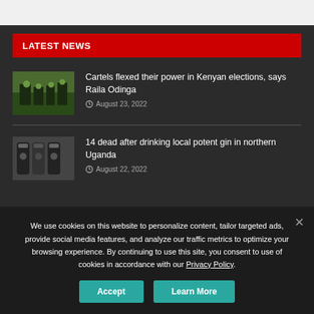LATEST NEWS
Cartels flexed their power in Kenyan elections, says Raila Odinga
August 23, 2022
14 dead after drinking local potent gin in northern Uganda
August 22, 2022
We use cookies on this website to personalize content, tailor targeted ads, provide social media features, and analyze our traffic metrics to optimize your browsing experience. By continuing to use this site, you consent to use of cookies in accordance with our Privacy Policy.